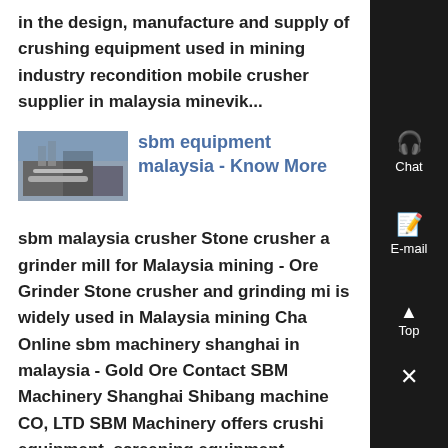in the design, manufacture and supply of crushing equipment used in mining industry recondition mobile crusher supplier in malaysia minevik...
[Figure (photo): Thumbnail photo of industrial crushing/mining equipment in a facility]
sbm equipment malaysia - Know More
sbm malaysia crusher Stone crusher and grinder mill for Malaysia mining - Ore Grinder Stone crusher and grinding mill is widely used in Malaysia mining Chat Online sbm machinery shanghai in malaysia - Gold Ore Contact SBM Machinery Shanghai Shibang machinery CO, LTD SBM Machinery offers crushing equipment, screening equipment,